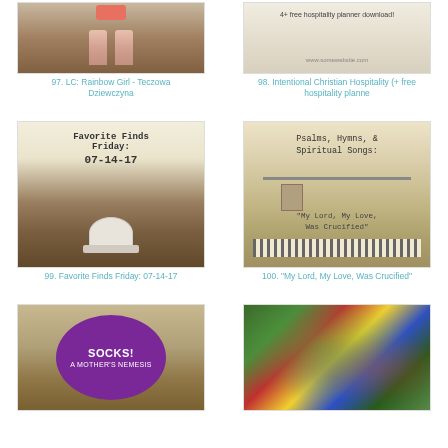[Figure (photo): Image thumbnail for item 97 - Rainbow Girl feet/legs photo]
97. LC: Rainbow Girl - Teczowa Dziewczyna
[Figure (photo): Image thumbnail for item 98 - Intentional Christian Hospitality with free hospitality planner download]
98. Intentional Christian Hospitality (+ free hospitality planne
[Figure (photo): Image thumbnail for item 99 - Favorite Finds Friday 07-14-17 with coffee cup]
99. Favorite Finds Friday: 07-14-17
[Figure (photo): Image thumbnail for item 100 - Psalms Hymns Spiritual Songs My Lord My Love Was Crucified]
100. "My Lord, My Love, Was Crucified"
[Figure (photo): Image thumbnail for item 101 - Socks A Mother's Nemesis]
[Figure (photo): Image thumbnail for item 102 - colorful salad with fruits and vegetables]